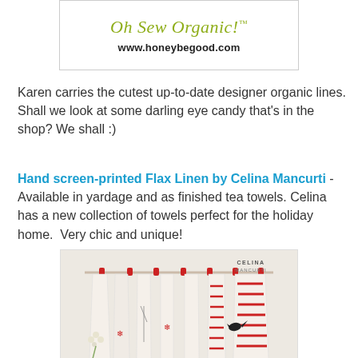[Figure (logo): Oh Sew Organic logo with tagline and website www.honeybegood.com]
Karen carries the cutest up-to-date designer organic lines.  Shall we look at some darling eye candy that's in the shop?  We shall :)
Hand screen-printed Flax Linen by Celina Mancurti - Available in yardage and as finished tea towels. Celina has a new collection of towels perfect for the holiday home.  Very chic and unique!
[Figure (photo): Photo of Celina Mancurti branded tea towels with various prints (snowflake, bird, candy stripes) hanging on a rod with red clips, with a small bouquet of white flowers on the left.]